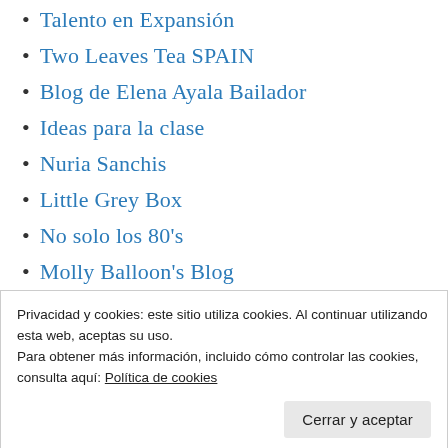Talento en Expansión
Two Leaves Tea SPAIN
Blog de Elena Ayala Bailador
Ideas para la clase
Nuria Sanchis
Little Grey Box
No solo los 80's
Molly Balloon's Blog
El OJO PUBLICO. / Глаз общественности
Think Creative Idea Growth Hacking
SCIENTIA
Privacidad y cookies: este sitio utiliza cookies. Al continuar utilizando esta web, aceptas su uso.
Para obtener más información, incluido cómo controlar las cookies, consulta aquí: Política de cookies
Cerrar y aceptar
Manel... (partially visible)